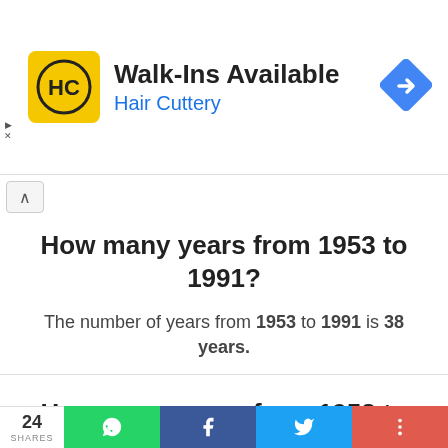[Figure (infographic): Hair Cuttery advertisement banner: yellow square logo with HC letters, text 'Walk-Ins Available' in dark, 'Hair Cuttery' in blue, blue diamond navigation arrow icon top right.]
How many years from 1953 to 1991?
The number of years from 1953 to 1991 is 38 years.
How many years from 1953 to 1992?
The number of years from 1953 to 1992 is 39 years.
24 SHARES  [WhatsApp] [Facebook] [Twitter] [+]